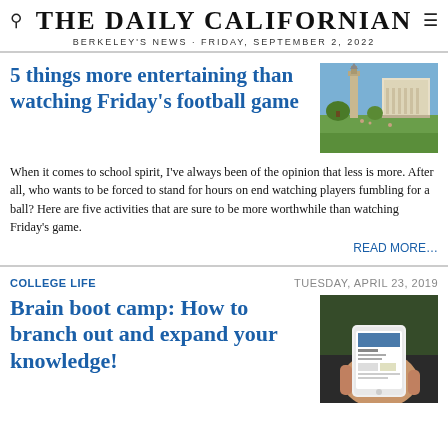THE DAILY CALIFORNIAN
BERKELEY'S NEWS · FRIDAY, SEPTEMBER 2, 2022
5 things more entertaining than watching Friday's football game
[Figure (photo): Campus photo showing a green lawn with a building and bell tower in background under blue sky]
When it comes to school spirit, I've always been of the opinion that less is more. After all, who wants to be forced to stand for hours on end watching players fumbling for a ball? Here are five activities that are sure to be more worthwhile than watching Friday's game.
READ MORE…
COLLEGE LIFE
TUESDAY, APRIL 23, 2019
Brain boot camp: How to branch out and expand your knowledge!
[Figure (photo): Person holding a smartphone showing a news app, viewed from above]